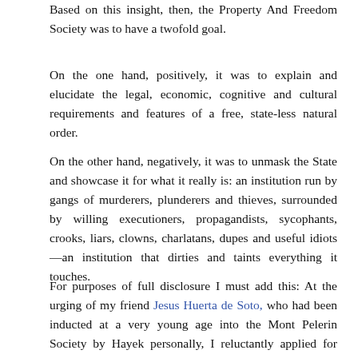Based on this insight, then, the Property And Freedom Society was to have a twofold goal.
On the one hand, positively, it was to explain and elucidate the legal, economic, cognitive and cultural requirements and features of a free, state-less natural order.
On the other hand, negatively, it was to unmask the State and showcase it for what it really is: an institution run by gangs of murderers, plunderers and thieves, surrounded by willing executioners, propagandists, sycophants, crooks, liars, clowns, charlatans, dupes and useful idiots—an institution that dirties and taints everything it touches.
For purposes of full disclosure I must add this: At the urging of my friend Jesus Huerta de Soto, who had been inducted at a very young age into the Mont Pelerin Society by Hayek personally, I reluctantly applied for membership sometime in the mid-1990s. Besides Huerta de Soto the late Arthur Seldon, who was then Honorary President of the Mont Pelerin Society, also played a role in this. More about...